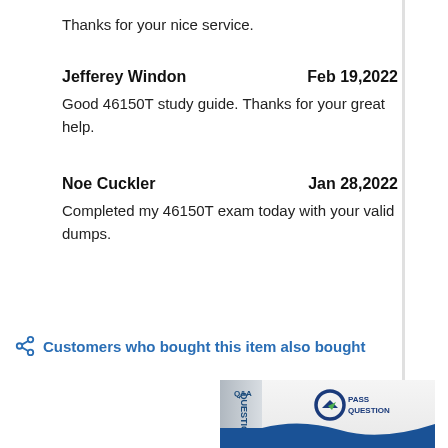Thanks for your nice service.
Jefferey Windon	Feb 19,2022
Good 46150T study guide. Thanks for your great help.
Noe Cuckler	Jan 28,2022
Completed my 46150T exam today with your valid dumps.
Customers who bought this item also bought
[Figure (photo): PassQuestion Q&A study guide product box with logo]